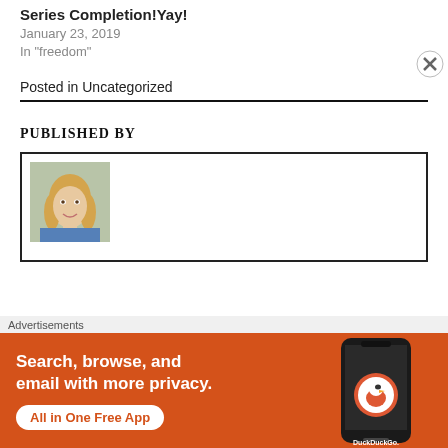Series Completion!Yay!
January 23, 2019
In "freedom"
Posted in Uncategorized
PUBLISHED BY
[Figure (photo): Author portrait photo: blonde woman smiling, wearing blue denim shirt]
[Figure (infographic): DuckDuckGo advertisement banner: orange background, text 'Search, browse, and email with more privacy. All in One Free App' with phone image and DuckDuckGo logo]